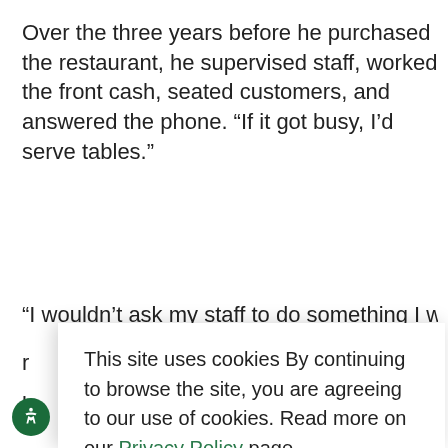Over the three years before he purchased the restaurant, he supervised staff, worked the front cash, seated customers, and answered the phone. “If it got busy, I’d serve tables.”
“I wouldn’t ask my staff to do something I wouldn’t do
This site uses cookies By continuing to browse the site, you are agreeing to our use of cookies. Read more on our Privacy Policy page.
Accept All